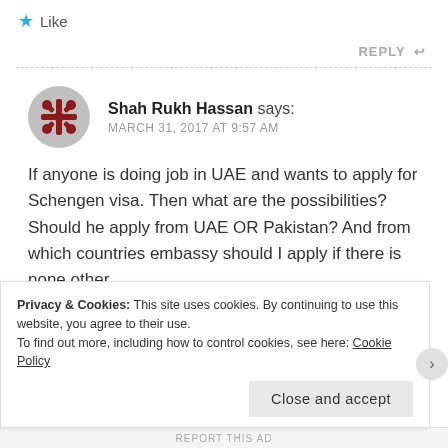[Figure (illustration): Star icon with Like text - social interaction button]
REPLY ↩
Shah Rukh Hassan says:
MARCH 31, 2017 AT 9:57 AM
If anyone is doing job in UAE and wants to apply for Schengen visa. Then what are the possibilities? Should he apply from UAE OR Pakistan? And from which countries embassy should I apply if there is none other
Privacy & Cookies: This site uses cookies. By continuing to use this website, you agree to their use.
To find out more, including how to control cookies, see here: Cookie Policy
Close and accept